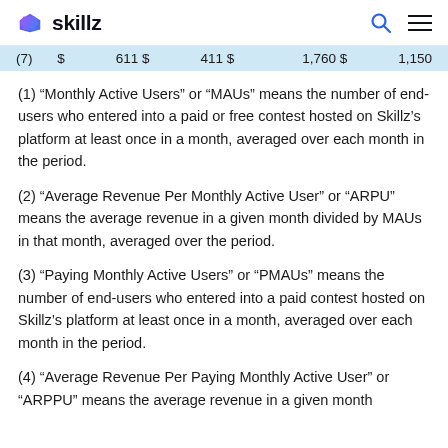skillz
| (7) | $ | 611 $ | 411 $ | 1,760 $ | 1,150 |
(1) “Monthly Active Users” or “MAUs” means the number of end-users who entered into a paid or free contest hosted on Skillz’s platform at least once in a month, averaged over each month in the period.
(2) “Average Revenue Per Monthly Active User” or “ARPU” means the average revenue in a given month divided by MAUs in that month, averaged over the period.
(3) “Paying Monthly Active Users” or “PMAUs” means the number of end-users who entered into a paid contest hosted on Skillz’s platform at least once in a month, averaged over each month in the period.
(4) “Average Revenue Per Paying Monthly Active User” or “ARPPU” means the average revenue in a given month